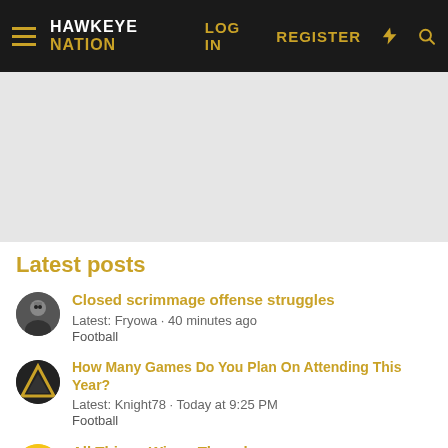HAWKEYE NATION | LOG IN  REGISTER
[Figure (other): Gray advertisement placeholder area]
Latest posts
Closed scrimmage offense struggles | Latest: Fryowa · 40 minutes ago | Football
How Many Games Do You Plan On Attending This Year? | Latest: Knight78 · Today at 9:25 PM | Football
All Things Wings Thread